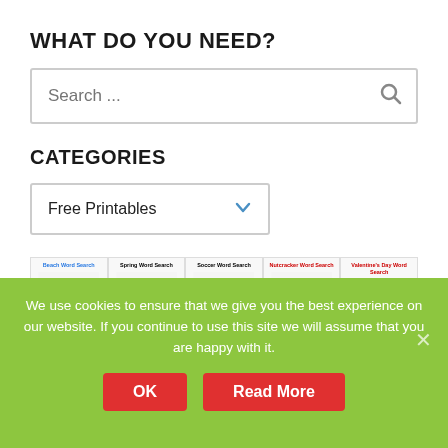WHAT DO YOU NEED?
[Figure (screenshot): Search input box with placeholder text 'Search ...' and a search icon on the right]
CATEGORIES
[Figure (screenshot): Dropdown selector showing 'Free Printables' with a blue chevron]
[Figure (screenshot): Row of 5 word search printable thumbnails: Beach Word Search, Spring Word Search, Soccer Word Search, Nutcracker Word Search, Valentine's Day Word Search]
We use cookies to ensure that we give you the best experience on our website. If you continue to use this site we will assume that you are happy with it.